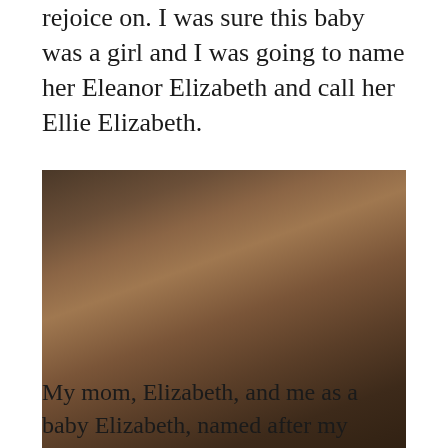rejoice on. I was sure this baby was a girl and I was going to name her Eleanor Elizabeth and call her Ellie Elizabeth.
[Figure (photo): Vintage Christmas photo showing a mother holding a baby and a small dog, with a young girl sitting on the floor near a decorated Christmas tree. Flower arrangements are visible on the left side.]
My mom, Elizabeth, and me as a baby Elizabeth, named after my mother. I had